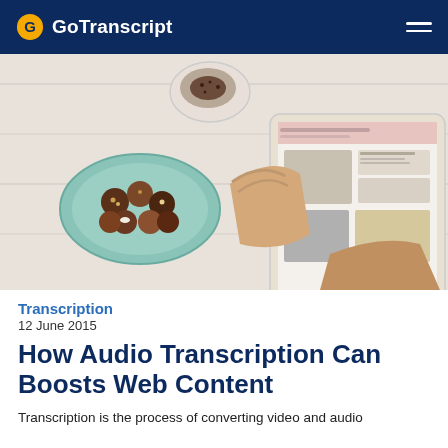GoTranscript
[Figure (photo): Person holding a tablet showing a blog/magazine layout with food images, a plate of chocolate truffles and a coffee cup on a white wooden table in the background]
Transcription
12 June 2015
How Audio Transcription Can Boosts Web Content
Transcription is the process of converting video and audio